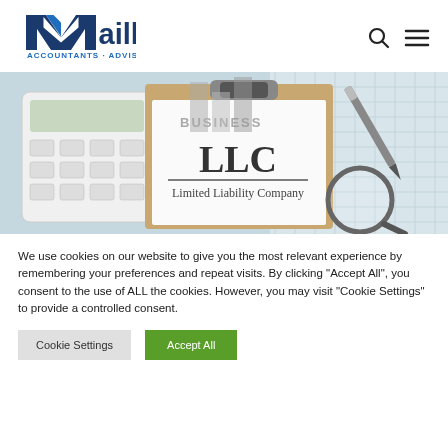[Figure (logo): Maillie Accountants Advisors logo with blue M and text]
[Figure (photo): Photo of a clipboard with LLC Limited Liability Company document, calculator, pen, and magnifying glass on a spreadsheet background. Text overlay: BUSINESS]
We use cookies on our website to give you the most relevant experience by remembering your preferences and repeat visits. By clicking “Accept All”, you consent to the use of ALL the cookies. However, you may visit "Cookie Settings" to provide a controlled consent.
Cookie Settings
Accept All